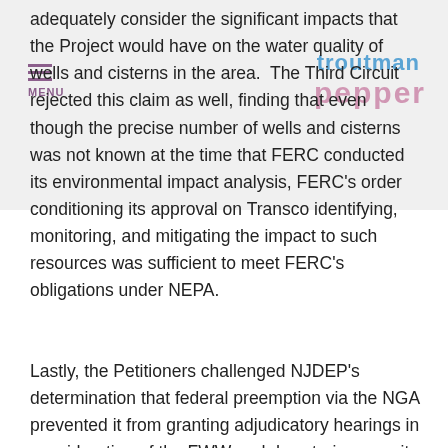adequately consider the significant impacts that the Project would have on the water quality of wells and cisterns in the area.  The Third Circuit rejected this claim as well, finding that even though the precise number of wells and cisterns was not known at the time that FERC conducted its environmental impact analysis, FERC's order conditioning its approval on Transco identifying, monitoring, and mitigating the impact to such resources was sufficient to meet FERC's obligations under NEPA.
Lastly, the Petitioners challenged NJDEP's determination that federal preemption via the NGA prevented it from granting adjudicatory hearings in consideration of the FWW and dewatering permits. On this issue, the Third Circuit noted that the NGA